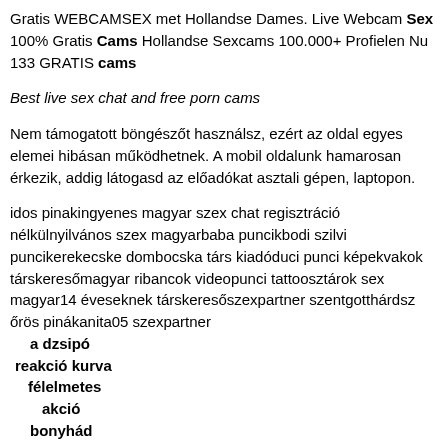Gratis WEBCAMSEX met Hollandse Dames. Live Webcam Sex 100% Gratis Cams Hollandse Sexcams 100.000+ Profielen Nu 133 GRATIS cams
Best live sex chat and free porn cams
Nem támogatott böngészőt használsz, ezért az oldal egyes elemei hibásan működhetnek. A mobil oldalunk hamarosan érkezik, addig látogasd az előadókat asztali gépen, laptopon.
idos pinakingyenes magyar szex chat regisztráció nélkülnyilvános szex magyarbaba puncikbodi szilvi puncikerekecske dombocska társ kiadóduci punci képekvakok társkeresőmagyar ribancok videopunci tattoosztárok sex magyar14 éveseknek társkeresőszexpartner szentgotthárdsz őrös pinákanita05 szexpartner a dzsipó reakció kurva félelmetes akció bonyhád